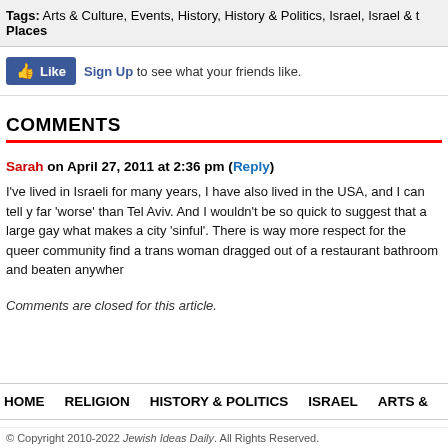Tags: Arts & Culture, Events, History, History & Politics, Israel, Israel & the Places
[Figure (other): Facebook Like button widget with Sign Up link]
COMMENTS
Sarah on April 27, 2011 at 2:36 pm (Reply)
I've lived in Israeli for many years, I have also lived in the USA, and I can tell y far 'worse' than Tel Aviv. And I wouldn't be so quick to suggest that a large gay what makes a city 'sinful'. There is way more respect for the queer community find a trans woman dragged out of a restaurant bathroom and beaten anywher
Comments are closed for this article.
HOME   RELIGION   HISTORY & POLITICS   ISRAEL   ARTS &
© Copyright 2010-2022 Jewish Ideas Daily. All Rights Reserved.